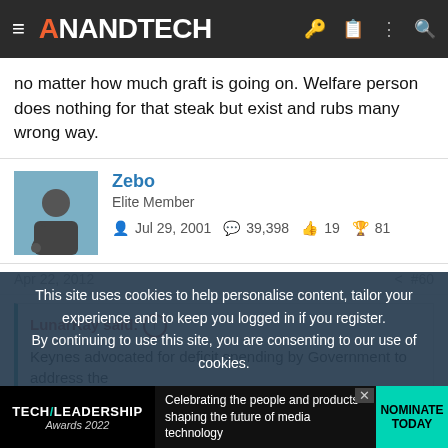AnandTech
no matter how much graft is going on. Welfare person does nothing for that steak but exist and rubs many wrong way.
Zebo
Elite Member
Jul 29, 2001  39,398  19  81
Apr 22, 2012  #60
LunarRay said: ↑

Keynes advocated for deficit spending by Government to address the
This site uses cookies to help personalise content, tailor your experience and to keep you logged in if you register.
By continuing to use this site, you are consenting to our use of cookies.
[Figure (screenshot): Tech Leadership Awards 2022 advertisement banner. Text reads: Celebrating the people and products shaping the future of media technology. NOMINATE TODAY button.]